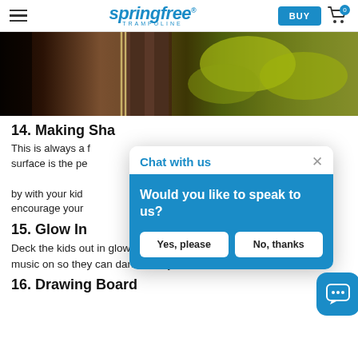springfree TRAMPOLINE — BUY
[Figure (photo): Partial view of a person standing outdoors near a fence with autumn foliage in the background.]
14. Making Shapes Out of Clouds
This is always a fun activity. The trampoline surface is the perfect place to lie back and gaze by with your kids at the clouds and encourage your...
15. Glow In The Dark Jumping
Deck the kids out in glow necklaces and bracelets, and put some music on so they can dance away after dark!
16. Drawing Board
[Figure (screenshot): Chat with us modal dialog with blue background showing 'Would you like to speak to us?' and two buttons: Yes, please and No, thanks.]